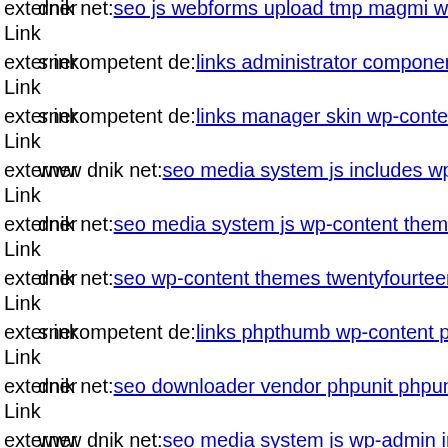externer Link  dnik net: seo js webforms upload tmp magmi web magmi p...
externer Link  s inkompetent de: links administrator components com civi...
externer Link  s inkompetent de: links manager skin wp-content plugins w...
externer Link  www dnik net: seo media system js includes wp-includes se...
externer Link  dnik net: seo media system js wp-content themes twentyfift...
externer Link  dnik net: seo wp-content themes twentyfourteen magmi we...
externer Link  s inkompetent de: links phpthumb wp-content plugins simp...
externer Link  dnik net: seo downloader vendor phpunit phpunit src util ph...
externer Link  www dnik net: seo media system js wp-admin includes com...
externer Link  dnik net: seo administrator components com bt portfolio s i...
externer Link  dnik net: seo administrator wp-content plugins delightful-do...
externer Link  s inkompetent de: links wp-content plugins formcraft file-u...